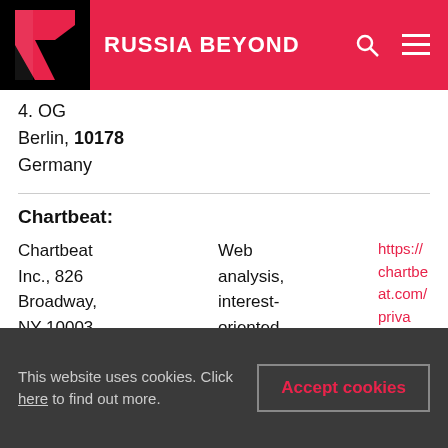[Figure (logo): Russia Beyond logo with red R on black background and white text RUSSIA BEYOND]
4. OG
Berlin, 10178
Germany
Chartbeat:
|  |  |  |
| --- | --- | --- |
| Chartbeat Inc., 826 Broadway, NY 10003, 826 Broadway, Floor 6, USA | Web analysis, interest-oriented advertising | https://chartbeat.com/priva |
This website uses cookies. Click here to find out more.